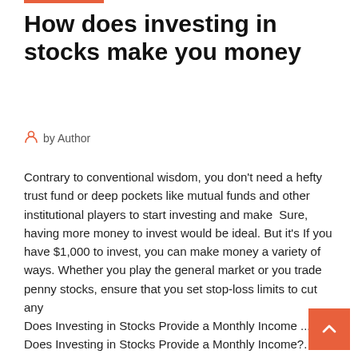How does investing in stocks make you money
by Author
Contrary to conventional wisdom, you don't need a hefty trust fund or deep pockets like mutual funds and other institutional players to start investing and make  Sure, having more money to invest would be ideal. But it's If you have $1,000 to invest, you can make money a variety of ways. Whether you play the general market or you trade penny stocks, ensure that you set stop-loss limits to cut any
Does Investing in Stocks Provide a Monthly Income ... Does Investing in Stocks Provide a Monthly Income?. Investing for income can leave you with no growth. CNN Money points out that stocks that pay high dividends may not sustain those payouts if 7 Smart Ways To Invest $1,000 Oct 22, 2019 · While there are so many ways to invest your $1,000, just make sure you choose...